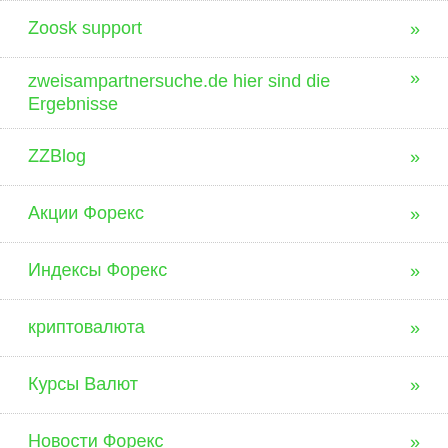Zoosk support
zweisampartnersuche.de hier sind die Ergebnisse
ZZBlog
Акции Форекс
Индексы Форекс
криптовалюта
Курсы Валют
Новости Форекс
Форекс